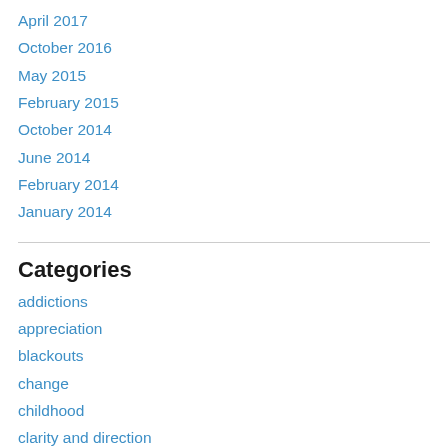April 2017
October 2016
May 2015
February 2015
October 2014
June 2014
February 2014
January 2014
Categories
addictions
appreciation
blackouts
change
childhood
clarity and direction
comfort
death